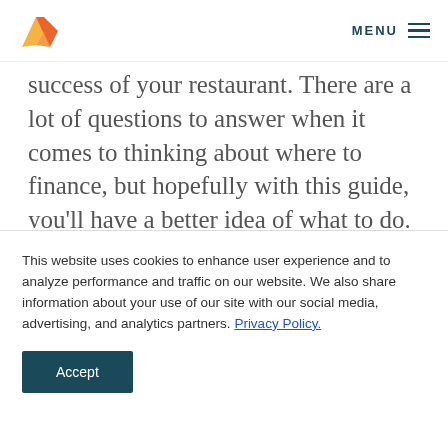MENU
success of your restaurant. There are a lot of questions to answer when it comes to thinking about where to finance, but hopefully with this guide, you’ll have a better idea of what to do. Whether you seek out traditional loans or alternative finance forms of funding, with a lit…
This website uses cookies to enhance user experience and to analyze performance and traffic on our website. We also share information about your use of our site with our social media, advertising, and analytics partners. Privacy Policy.
Accept